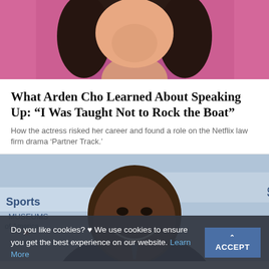[Figure (photo): Woman with dark hair wearing a bright pink/magenta jacket, photo cropped to show shoulders and bottom of face]
What Arden Cho Learned About Speaking Up: “I Was Taught Not to Rock the Boat”
How the actress risked her career and found a role on the Netflix law firm drama ‘Partner Track.’
[Figure (photo): Smiling bald Black man in a dark suit at a Sports Museums of America event, with branded step-and-repeat backdrop visible]
Do you like cookies? ♥ We use cookies to ensure you get the best experience on our website. Learn More